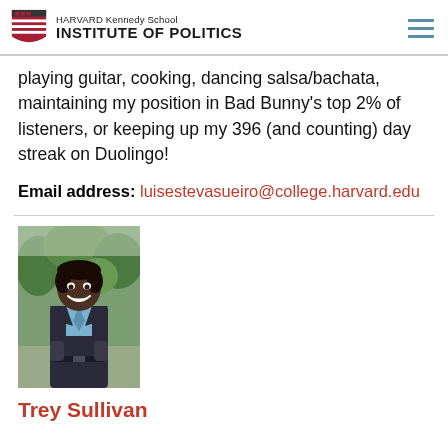HARVARD Kennedy School INSTITUTE OF POLITICS
playing guitar, cooking, dancing salsa/bachata, maintaining my position in Bad Bunny's top 2% of listeners, or keeping up my 396 (and counting) day streak on Duolingo!
Email address: luisestevasueiro@college.harvard.edu
[Figure (photo): Portrait photo of Trey Sullivan, a young man in a dark blazer and light blue shirt, smiling, outdoors with trees in the background]
Trey Sullivan